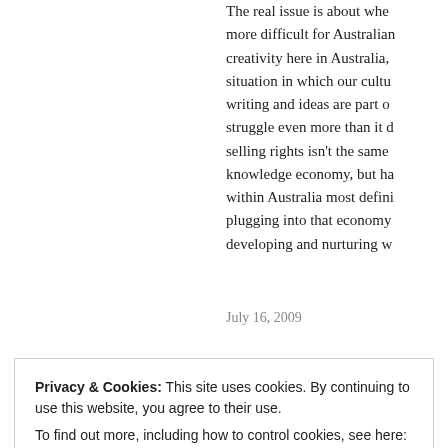The real issue is about whe more difficult for Australian creativity here in Australia, situation in which our cultu writing and ideas are part o struggle even more than it selling rights isn't the same knowledge economy, but ha within Australia most defini plugging into that economy developing and nurturing w
July 16, 2009
Privacy & Cookies: This site uses cookies. By continuing to use this website, you agree to their use.
To find out more, including how to control cookies, see here: Cookie Policy
Close and accept